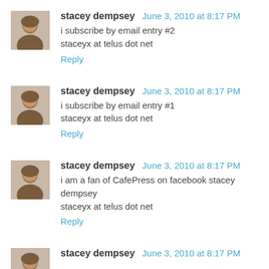stacey dempsey  June 3, 2010 at 8:17 PM
i subscribe by email entry #2
staceyx at telus dot net
Reply
stacey dempsey  June 3, 2010 at 8:17 PM
i subscribe by email entry #1
staceyx at telus dot net
Reply
stacey dempsey  June 3, 2010 at 8:17 PM
i am a fan of CafePress on facebook stacey dempsey
staceyx at telus dot net
Reply
stacey dempsey  June 3, 2010 at 8:17 PM